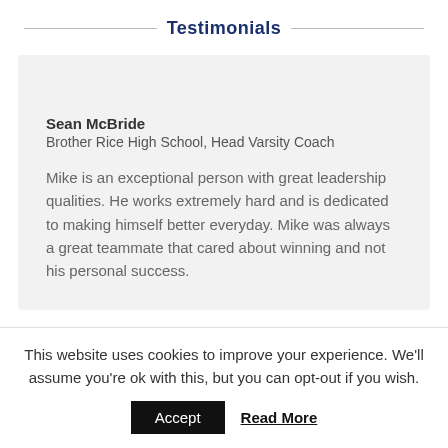Testimonials
Sean McBride
Brother Rice High School, Head Varsity Coach

Mike is an exceptional person with great leadership qualities. He works extremely hard and is dedicated to making himself better everyday. Mike was always a great teammate that cared about winning and not his personal success.
This website uses cookies to improve your experience. We'll assume you're ok with this, but you can opt-out if you wish.